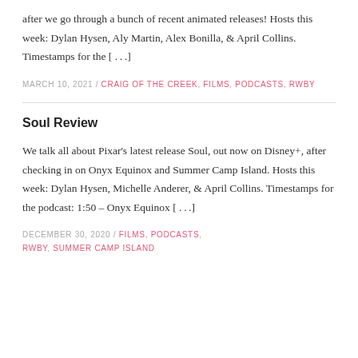after we go through a bunch of recent animated releases! Hosts this week: Dylan Hysen, Aly Martin, Alex Bonilla, & April Collins. Timestamps for the [...]
MARCH 10, 2021 / CRAIG OF THE CREEK, FILMS, PODCASTS, RWBY
Soul Review
We talk all about Pixar's latest release Soul, out now on Disney+, after checking in on Onyx Equinox and Summer Camp Island. Hosts this week: Dylan Hysen, Michelle Anderer, & April Collins. Timestamps for the podcast: 1:50 – Onyx Equinox [...]
DECEMBER 30, 2020 / FILMS, PODCASTS, RWBY, SUMMER CAMP ISLAND